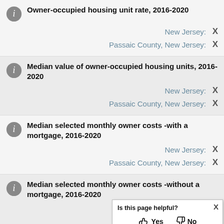Owner-occupied housing unit rate, 2016-2020
New Jersey: X
Passaic County, New Jersey: X
Median value of owner-occupied housing units, 2016-2020
New Jersey: X
Passaic County, New Jersey: X
Median selected monthly owner costs -with a mortgage, 2016-2020
New Jersey: X
Passaic County, New Jersey: X
Median selected monthly owner costs -without a mortgage, 2016-2020
Passaic County, New Jersey: X